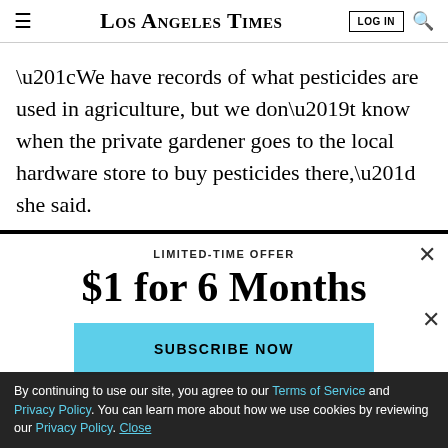Los Angeles Times
“We have records of what pesticides are used in agriculture, but we don’t know when the private gardener goes to the local hardware store to buy pesticides there,” she said.
LIMITED-TIME OFFER
$1 for 6 Months
SUBSCRIBE NOW
By continuing to use our site, you agree to our Terms of Service and Privacy Policy. You can learn more about how we use cookies by reviewing our Privacy Policy. Close